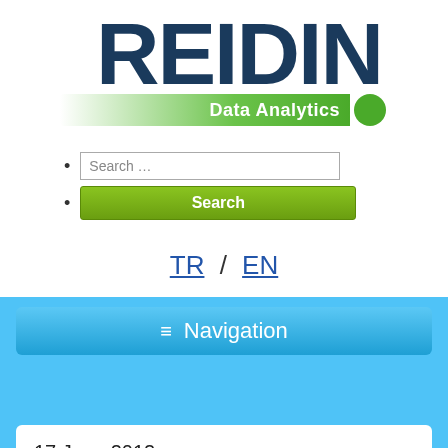[Figure (logo): REIDIN Data Analytics logo with large dark blue bold text REIDIN, green gradient bar with white text Data Analytics, and green circle dot]
Search input field
Search button
TR / EN
≡ Navigation
17 June 2012